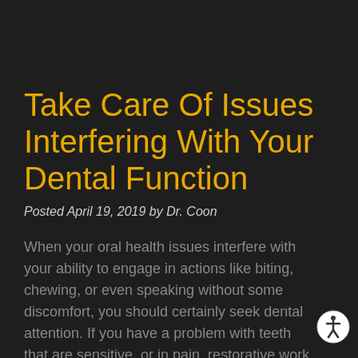Take Care Of Issues Interfering With Your Dental Function
Posted April 19, 2019 by Dr. Coon
When your oral health issues interfere with your ability to engage in actions like biting, chewing, or even speaking without some discomfort, you should certainly seek dental attention. If you have a problem with teeth that are sensitive, or in pain, restorative work can be called for. Issues that limit